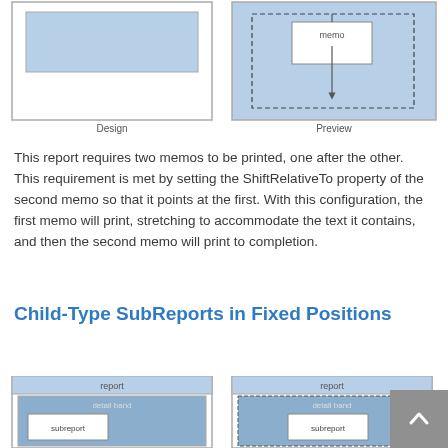[Figure (schematic): Two side-by-side diagrams labeled Design and Preview. Design shows a plain rectangle with a blue shaded rectangle inside. Preview shows a dashed-border rectangle inside a blue shaded outer rectangle, containing a smaller white box labeled 'memo' with a downward arrow indicating stretching.]
Design                        Preview
This report requires two memos to be printed, one after the other. This requirement is met by setting the ShiftRelativeTo property of the second memo so that it points at the first. With this configuration, the first memo will print, stretching to accommodate the text it contains, and then the second memo will print to completion.
Child-Type SubReports in Fixed Positions
[Figure (schematic): Two side-by-side diagrams showing report layouts. Left: Design view with 'report' header, 'detail band' label, and 'subreport' white box inside blue band. Right: Preview with similar layout and dashed borders indicating dynamic sizing.]